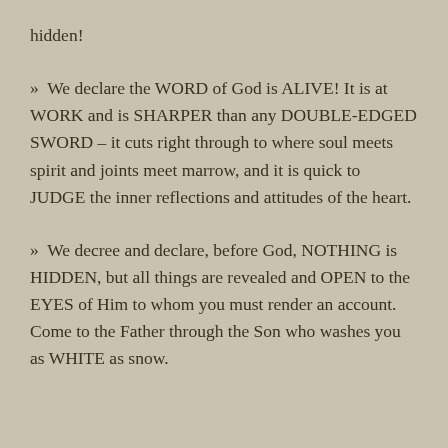hidden!
» We declare the WORD of God is ALIVE! It is at WORK and is SHARPER than any DOUBLE-EDGED SWORD – it cuts right through to where soul meets spirit and joints meet marrow, and it is quick to JUDGE the inner reflections and attitudes of the heart.
» We decree and declare, before God, NOTHING is HIDDEN, but all things are revealed and OPEN to the EYES of Him to whom you must render an account. Come to the Father through the Son who washes you as WHITE as snow.